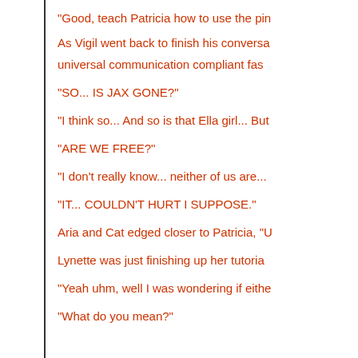"Good, teach Patricia how to use the pin
As Vigil went back to finish his conversa universal communication compliant fas
"SO... IS JAX GONE?"
"I think so... And so is that Ella girl... But
"ARE WE FREE?"
"I don't really know... neither of us are...
"IT... COULDN'T HURT I SUPPOSE."
Aria and Cat edged closer to Patricia, "U
Lynette was just finishing up her tutoria
"Yeah uhm, well I was wondering if eithe
"What do you mean?"